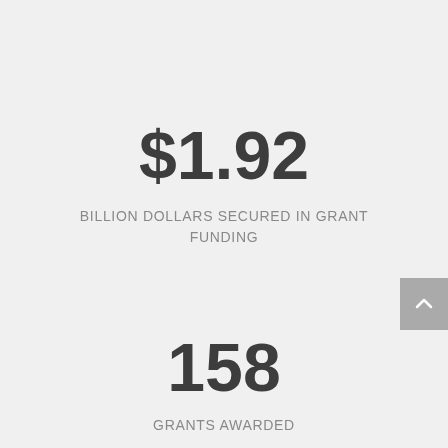$1.92
BILLION DOLLARS SECURED IN GRANT FUNDING
158
GRANTS AWARDED